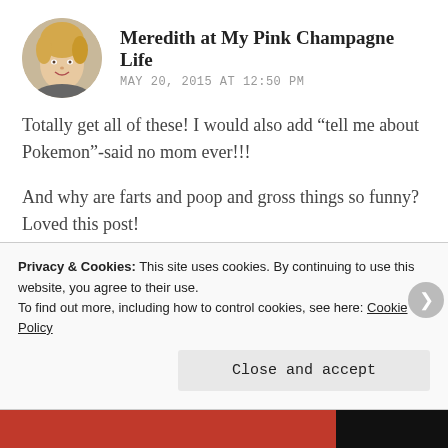[Figure (photo): Circular avatar photo of a blonde woman (Meredith), smiling, against a light background.]
Meredith at My Pink Champagne Life
MAY 20, 2015 AT 12:50 PM
Totally get all of these! I would also add “tell me about Pokemon”-said no mom ever!!!
And why are farts and poop and gross things so funny? Loved this post!
★ Like
Reply
Privacy & Cookies: This site uses cookies. By continuing to use this website, you agree to their use.
To find out more, including how to control cookies, see here: Cookie Policy
Close and accept